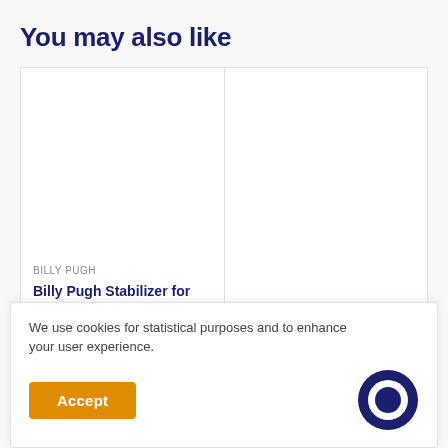You may also like
[Figure (other): Product card for Billy Pugh Stabilizer — empty white image area with brand label BILLY PUGH and product title 'Billy Pugh Stabilizer for Personnel Transfer Basket with 2pcs of 3/4"']
[Figure (other): Product card for Oiltechnics — empty white image area with brand label OILTECHNICS and product title 'Spill Pallet, 4 Drum' (partially visible)]
We use cookies for statistical purposes and to enhance your user experience.
Accept